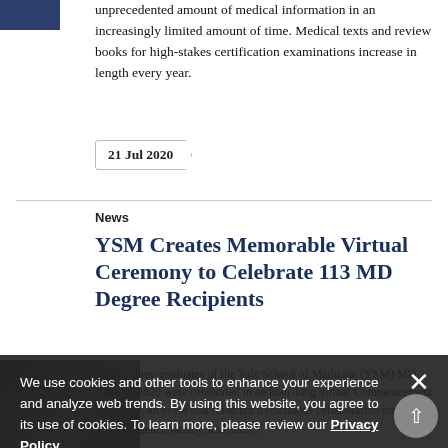[Figure (photo): Small thumbnail image at top left, dark blue/grey tones]
unprecedented amount of medical information in an increasingly limited amount of time. Medical texts and review books for high-stakes certification examinations increase in length every year.
21 Jul 2020
News
YSM Creates Memorable Virtual Ceremony to Celebrate 113 MD Degree Recipients
[Figure (photo): Photo at bottom left, dark image of a person or building]
Ninety-three graduates of the Yale School of Medicine (YSM) MD Class of 2020 were celebrated in an hour-long virtual Commencement ceremony, an event that reflected tremendous collaboration among YSM students, faculty, and staff...
We use cookies and other tools to enhance your experience and analyze web trends. By using this website, you agree to its use of cookies. To learn more, please review our Privacy Policy.